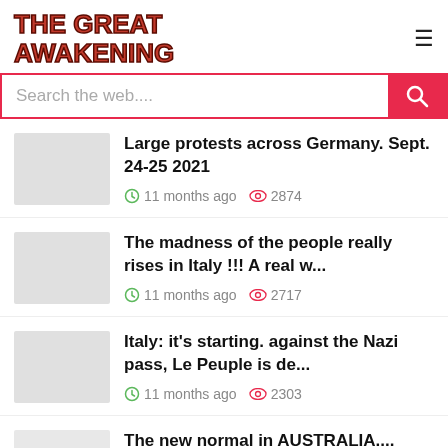THE GREAT AWAKENING
[Figure (screenshot): Search bar with pink/red border and search button]
Large protests across Germany. Sept. 24-25 2021 | 11 months ago | 2874 views
The madness of the people really rises in Italy !!! A real w... | 11 months ago | 2717 views
Italy: it's starting. against the Nazi pass, Le Peuple is de... | 11 months ago | 2303 views
The new normal in AUSTRALIA.... .This policeman